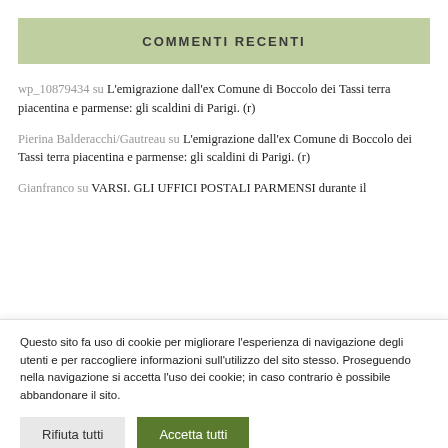COMMENTI RECENTI
wp_10879434 su L'emigrazione dall'ex Comune di Boccolo dei Tassi terra piacentina e parmense: gli scaldini di Parigi. (r)
Pierina Balderacchi/Gautreau su L'emigrazione dall'ex Comune di Boccolo dei Tassi terra piacentina e parmense: gli scaldini di Parigi. (r)
Gianfranco su VARSI. GLI UFFICI POSTALI PARMENSI durante il
Questo sito fa uso di cookie per migliorare l'esperienza di navigazione degli utenti e per raccogliere informazioni sull'utilizzo del sito stesso. Proseguendo nella navigazione si accetta l'uso dei cookie; in caso contrario è possibile abbandonare il sito.
Rifiuta tutti | Accetta tutti